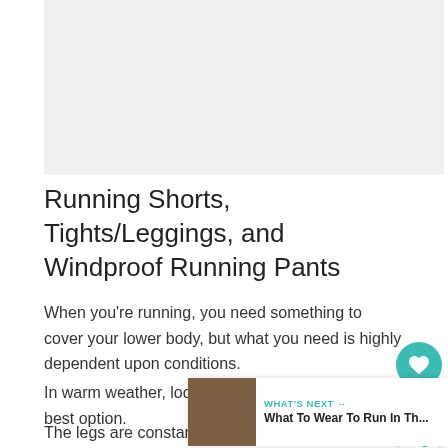[Figure (photo): Placeholder image area, light gray background]
Running Shorts, Tights/Leggings, and Windproof Running Pants
When you're running, you need something to cover your lower body, but what you need is highly dependent upon conditions.
In warm weather, loose shorts are the best option.
The legs are constantly working during a run, and quite quickly because of it.